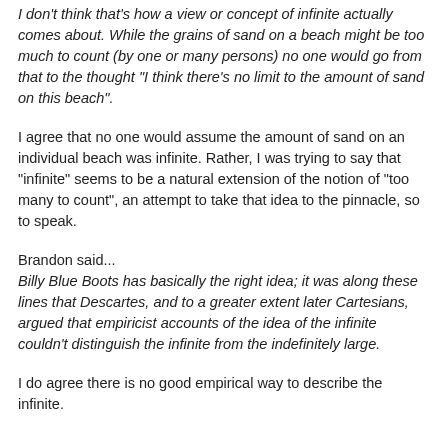I don't think that's how a view or concept of infinite actually comes about. While the grains of sand on a beach might be too much to count (by one or many persons) no one would go from that to the thought "I think there's no limit to the amount of sand on this beach".
I agree that no one would assume the amount of sand on an individual beach was infinite. Rather, I was trying to say that "infinite" seems to be a natural extension of the notion of "too many to count", an attempt to take that idea to the pinnacle, so to speak.
Brandon said...
Billy Blue Boots has basically the right idea; it was along these lines that Descartes, and to a greater extent later Cartesians, argued that empiricist accounts of the idea of the infinite couldn't distinguish the infinite from the indefinitely large.
I do agree there is no good empirical way to describe the infinite.